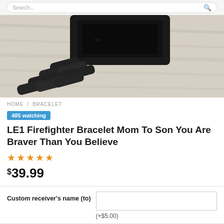Search...
[Figure (photo): Close-up photo of a black metal bracelet/watch on a light wooden surface]
HOME / BRACELET
485 watching
LE1 Firefighter Bracelet Mom To Son You Are Braver Than You Believe
★★★★★ (5 stars)
$39.99
Custom receiver's name (to)
(+$5.00)